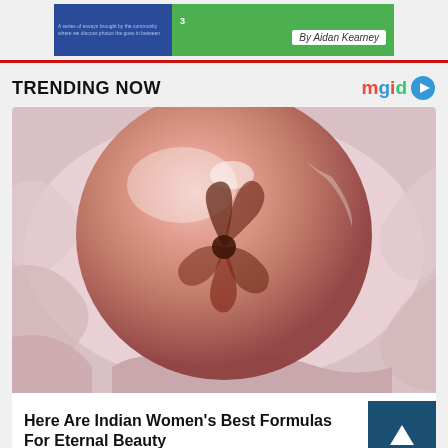[Figure (screenshot): Top banner showing a book or article preview with blue left section and green right section reading 'By Aidan Kearney']
[Figure (photo): A translucent pink/rose-gold sphere sitting in crinkled pink tissue paper, with a flower preserved inside, serving as thumbnail for a trending article]
TRENDING NOW
Here Are Indian Women's Best Formulas For Eternal Beauty